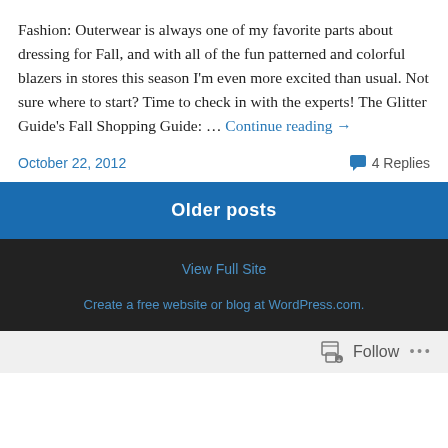Fashion: Outerwear is always one of my favorite parts about dressing for Fall, and with all of the fun patterned and colorful blazers in stores this season I'm even more excited than usual. Not sure where to start? Time to check in with the experts! The Glitter Guide's Fall Shopping Guide: … Continue reading →
October 22, 2012
4 Replies
Older posts
View Full Site
Create a free website or blog at WordPress.com.
Follow ···